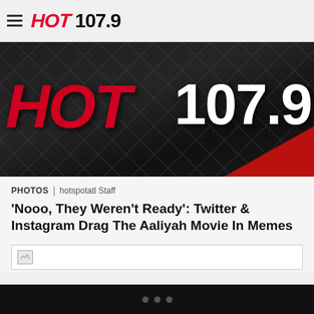HOT 107.9
[Figure (photo): Hot 107.9 radio station logo on dark textured background with red HOT text and white 107.9 numbers, red triangle at bottom right]
PHOTOS | hotspotatl Staff
'Nooo, They Weren't Ready': Twitter & Instagram Drag The Aaliyah Movie In Memes
[Figure (photo): Broken/missing image placeholder]